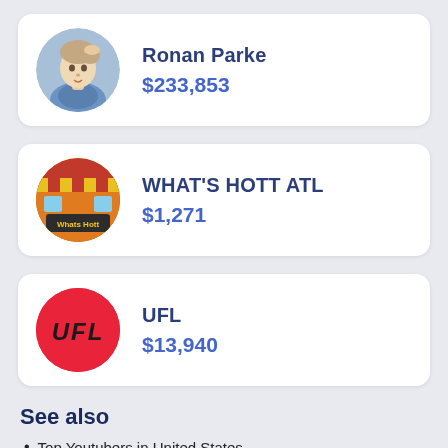[Figure (photo): Circular avatar photo of Ronan Parke, a young person with light skin touching their hair, wearing a blue denim jacket]
Ronan Parke
$233,853
[Figure (logo): Circular avatar for What's Hott ATL channel, colorful storefront/market scene with yellow text reading 'Whats Hott']
WHAT'S HOTT ATL
$1,271
[Figure (logo): Circular red logo with black italic bold text reading 'UFL']
UFL
$13,940
See also
Top Youtubers in United States